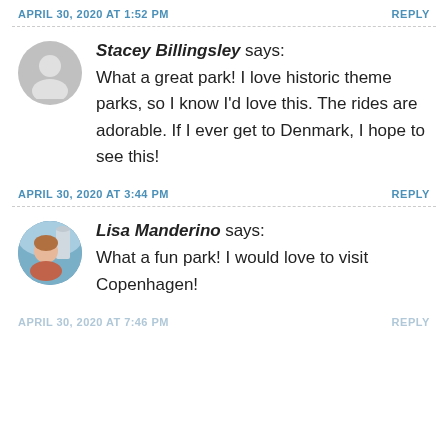APRIL 30, 2020 AT 1:52 PM    REPLY
Stacey Billingsley says: What a great park! I love historic theme parks, so I know I'd love this. The rides are adorable. If I ever get to Denmark, I hope to see this!
APRIL 30, 2020 AT 3:44 PM    REPLY
Lisa Manderino says: What a fun park! I would love to visit Copenhagen!
APRIL 30, 2020 AT 7:46 PM    REPLY